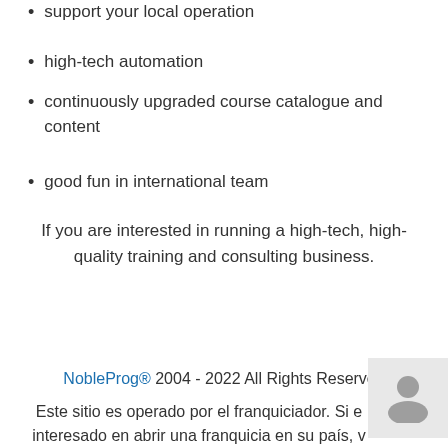support your local operation
high-tech automation
continuously upgraded course catalogue and content
good fun in international team
If you are interested in running a high-tech, high-quality training and consulting business.
Apply now!
NobleProg® 2004 - 2022 All Rights Reserved
Este sitio es operado por el franquiciador. Si e interesado en abrir una franquicia en su país, v https://training-franchise.com para obtener más información